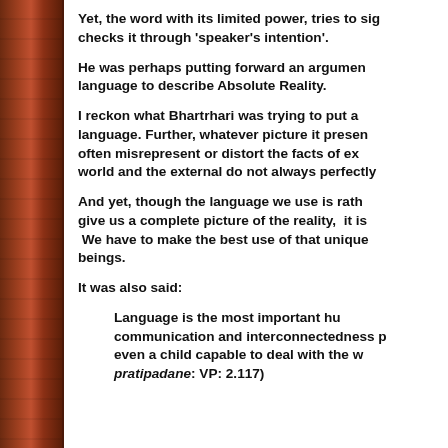Yet, the word with its limited power, tries to signify and checks it through 'speaker's intention'.
He was perhaps putting forward an argument for the limits of language to describe Absolute Reality.
I reckon what Bhartrhari was trying to put across is the limits of language. Further, whatever picture it presents of reality may often misrepresent or distort the facts of existence. The inner world and the external do not always perfectly coincide.
And yet, though the language we use is rather limited and cannot give us a complete picture of the reality, it is a unique faculty. We have to make the best use of that unique faculty as human beings.
It was also said:
Language is the most important human faculty that makes communication and interconnectedness possible. Language makes even a child capable to deal with the world. (vakyapadiya pratipadane: VP: 2.117)